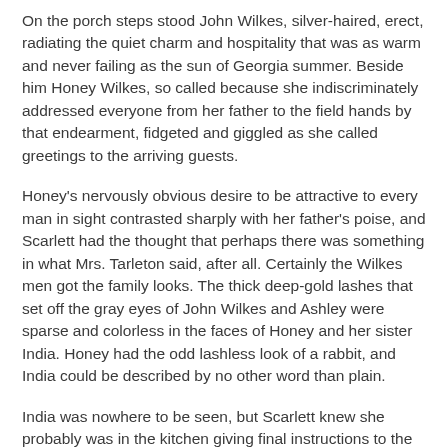On the porch steps stood John Wilkes, silver-haired, erect, radiating the quiet charm and hospitality that was as warm and never failing as the sun of Georgia summer. Beside him Honey Wilkes, so called because she indiscriminately addressed everyone from her father to the field hands by that endearment, fidgeted and giggled as she called greetings to the arriving guests.
Honey's nervously obvious desire to be attractive to every man in sight contrasted sharply with her father's poise, and Scarlett had the thought that perhaps there was something in what Mrs. Tarleton said, after all. Certainly the Wilkes men got the family looks. The thick deep-gold lashes that set off the gray eyes of John Wilkes and Ashley were sparse and colorless in the faces of Honey and her sister India. Honey had the odd lashless look of a rabbit, and India could be described by no other word than plain.
India was nowhere to be seen, but Scarlett knew she probably was in the kitchen giving final instructions to the servants. Poor India, thought Scarlett, she's had so much trouble keeping house since her mother died that she's never had the chance to catch any beau except Stuart